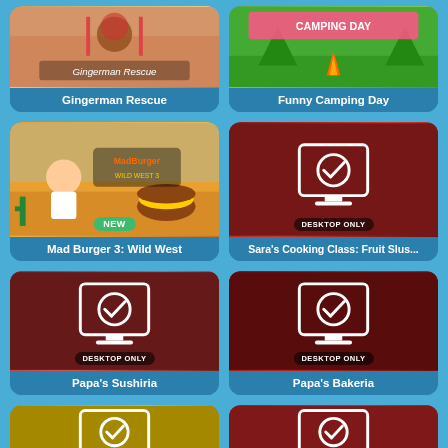[Figure (screenshot): Game thumbnail for Gingerman Rescue]
Gingerman Rescue
[Figure (screenshot): Game thumbnail for Funny Camping Day]
Funny Camping Day
[Figure (screenshot): Game thumbnail for Mad Burger 3: Wild West with NEW badge]
Mad Burger 3: Wild West
[Figure (screenshot): Desktop only icon for Sara's Cooking Class: Fruit Slus...]
Sara's Cooking Class: Fruit Slus...
[Figure (screenshot): Desktop only icon for Papa's Sushiria]
Papa's Sushiria
[Figure (screenshot): Desktop only icon for Papa's Bakeria]
Papa's Bakeria
[Figure (screenshot): Partial game thumbnail bottom left]
[Figure (screenshot): Partial game thumbnail bottom right]